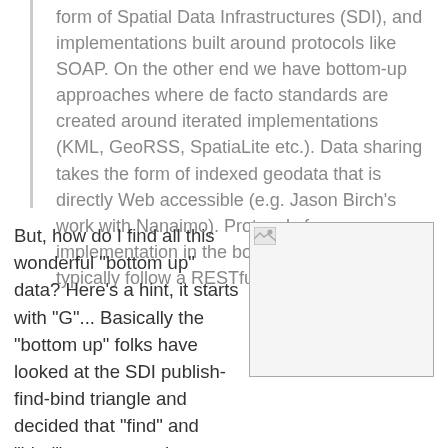form of Spatial Data Infrastructures (SDI), and implementations built around protocols like SOAP. On the other end we have bottom-up approaches where de facto standards are created around iterated implementations (KML, GeoRSS, SpatiaLite etc.). Data sharing takes the form of indexed geodata that is directly Web accessible (e.g. Jason Birch's work with Nanaimo). Protocols for implementation in the bottom-up category typically follow a RESTful philosophy.
But, how do I find all this wonderful "bottom up" data? Here's a hint, it starts with "G"... Basically the "bottom up" folks have looked at the SDI publish-find-bind triangle and decided that "find" and "bind" are too much trouble. Someone else will have to deal with that. And fortunately (?), someone (starts with "G") has.
[Figure (photo): Small image placeholder with broken image icon in top-left corner, shown as a white/light grey box with border]